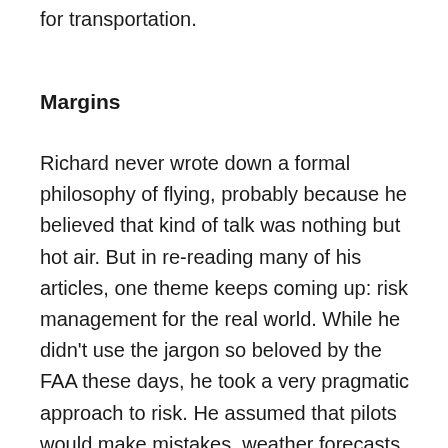for transportation.
Margins
Richard never wrote down a formal philosophy of flying, probably because he believed that kind of talk was nothing but hot air. But in re-reading many of his articles, one theme keeps coming up: risk management for the real world. While he didn't use the jargon so beloved by the FAA these days, he took a very pragmatic approach to risk. He assumed that pilots would make mistakes, weather forecasts would be wrong, and equipment would fail...